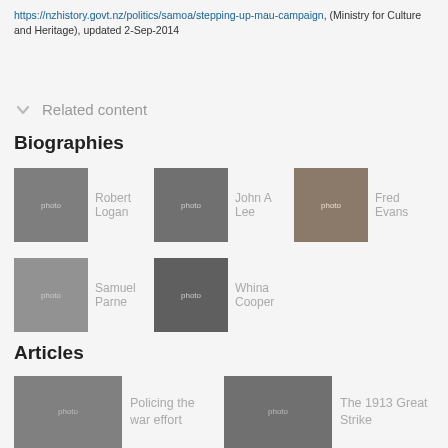https://nzhistory.govt.nz/politics/samoa/stepping-up-mau-campaign, (Ministry for Culture and Heritage), updated 2-Sep-2014
Related content
Biographies
[Figure (photo): Black and white portrait photo of Robert Logan]
Robert Logan
[Figure (photo): Black and white portrait photo of John A Lee]
John A Lee
[Figure (photo): Sepia portrait photo of Fred Evans]
Fred Evans
[Figure (photo): Black and white portrait photo of Samuel Parnell]
Samuel Parne
[Figure (photo): Black and white photo of Whina Cooper]
Whina Cooper
Articles
[Figure (photo): Black and white photo related to Policing the war effort]
Policing the war effort
[Figure (photo): Black and white photo related to The 1913 Great Strike]
The 1913 Great Strike
[Figure (photo): Colour photo related to Anzac Day in the Bay of...]
Anzac Day in the Bay of...
[Figure (photo): Photo related to Pacific article]
Pacific